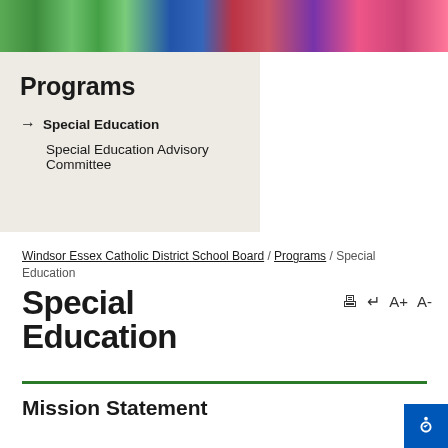[Figure (photo): Children in colorful shirts photographed from above, a partial view photo strip at the top of the page.]
Programs
→ Special Education
Special Education Advisory Committee
Windsor Essex Catholic District School Board / Programs / Special Education
Special Education
Mission Statement